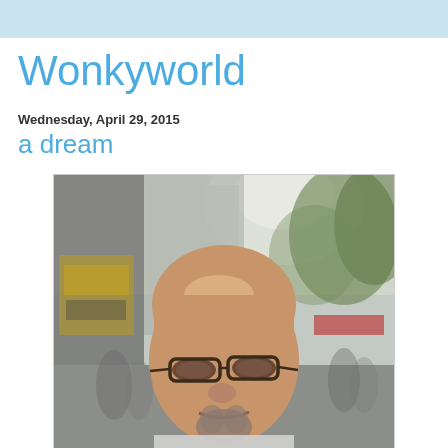Wonkyworld
Wednesday, April 29, 2015
a dream
[Figure (photo): A middle-aged bald man with glasses and a goatee taking a selfie on a busy urban street with blurred buildings, trees, and pedestrians in the background.]